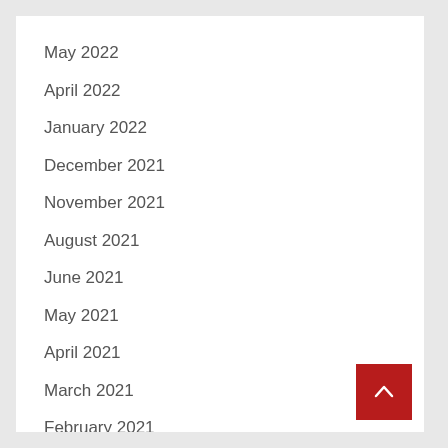May 2022
April 2022
January 2022
December 2021
November 2021
August 2021
June 2021
May 2021
April 2021
March 2021
February 2021
January 2021
December 2020